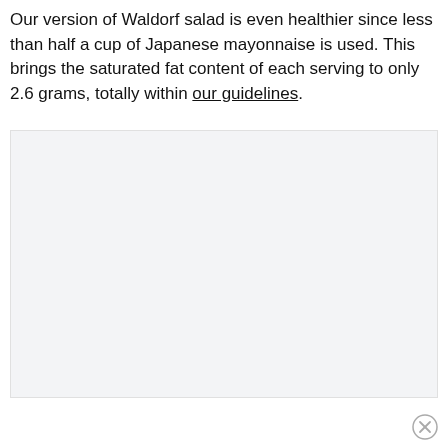Our version of Waldorf salad is even healthier since less than half a cup of Japanese mayonnaise is used. This brings the saturated fat content of each serving to only 2.6 grams, totally within our guidelines.
[Figure (other): Large light gray placeholder/image area]